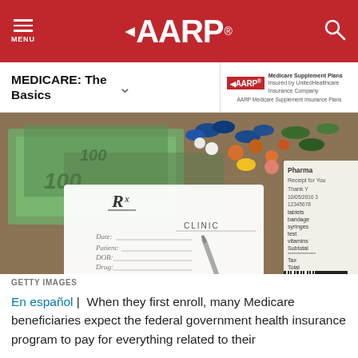MENU | AARP | Search
MEDICARE: The Basics
[Figure (photo): Photo of prescription pad labeled Rx with Date, Patient, DOB, Drug, Directions fields; surrounded by various colorful pills/capsules, US dollar bills, a ballpoint pen, and a pharmacy receipt partially visible on the right showing items like tablets, bandage, syringes, test, vitamins, Subtotal, Tax, Total and barcode. Dated 10/05/2016.]
GETTY IMAGES
En español |  When they first enroll, many Medicare beneficiaries expect the federal government health insurance program to pay for everything related to their